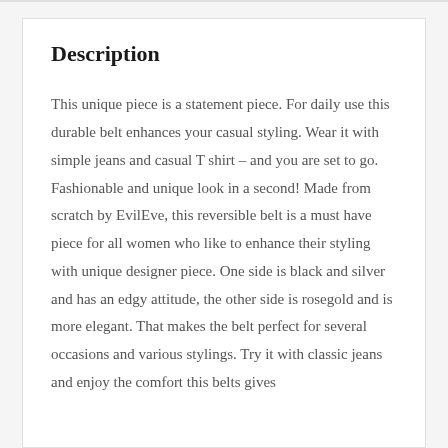Description
This unique piece is a statement piece. For daily use this durable belt enhances your casual styling. Wear it with simple jeans and casual T shirt – and you are set to go. Fashionable and unique look in a second! Made from scratch by EvilEve, this reversible belt is a must have piece for all women who like to enhance their styling with unique designer piece. One side is black and silver and has an edgy attitude, the other side is rosegold and is more elegant. That makes the belt perfect for several occasions and various stylings. Try it with classic jeans and enjoy the comfort this belts gives